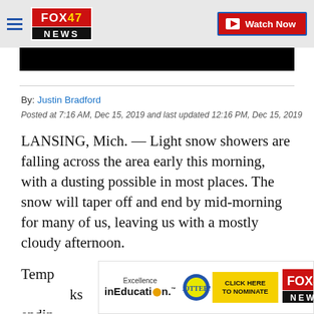FOX 47 NEWS | Watch Now
[Figure (screenshot): Black video player bar]
By: Justin Bradford
Posted at 7:16 AM, Dec 15, 2019 and last updated 12:16 PM, Dec 15, 2019
LANSING, Mich. — Light snow showers are falling across the area early this morning, with a dusting possible in most places. The snow will taper off and end by mid-morning for many of us, leaving us with a mostly cloudy afternoon.
Temp[eratures] ... ks endin[g] ... t
[Figure (screenshot): Advertisement banner: Excellence in Education, Michigan Lottery, Click Here to Nominate, FOX 47 News]